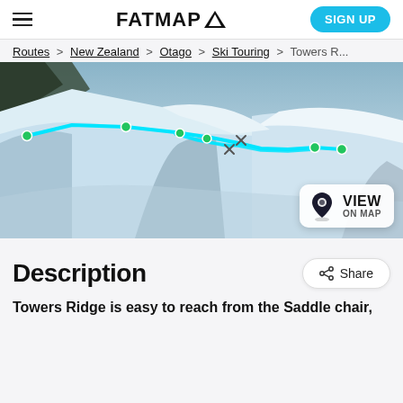FATMAP [logo] | SIGN UP
Routes > New Zealand > Otago > Ski Touring > Towers R...
[Figure (map): 3D aerial map showing a snowy mountain ridge with a cyan ski touring route traced along the ridge, with green waypoint dots and crosshair markers. A 'VIEW ON MAP' button appears in the lower right corner of the map.]
Description
Towers Ridge is easy to reach from the Saddle chair,